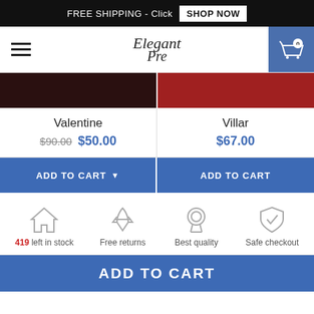FREE SHIPPING - Click SHOP NOW
[Figure (screenshot): E-commerce website navigation bar with hamburger menu, script logo 'Elegant Pre', and blue cart icon with 0 count]
[Figure (photo): Two product images side by side: dark photo on left, red product on right]
Valentine
$90.00 $50.00
Villar
$67.00
ADD TO CART
ADD TO CART
419 left in stock
Free returns
Best quality
Safe checkout
ADD TO CART